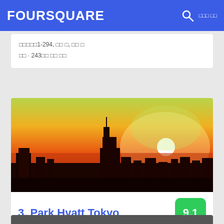FOURSQUARE
□□□□□1-294, □□ □, □□ □
□□ · 243□□ □□ □□
[Figure (photo): Aerial cityscape photo of Tokyo at sunset with an orange and red sky, a tall building visible in the center silhouette, and a bright white sun on the right side]
3. Park Hyatt Tokyo
(□□□□□□□□□□)
□□□3-7-1-2 (□□□□□□□□□), □□□, □□ □
□□ · □□□ · 121□□ □□ □□